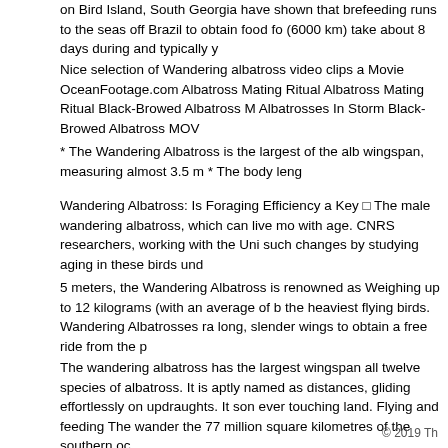on Bird Island, South Georgia have shown that bre feeding runs to the seas off Brazil to obtain food fo (6000 km) take about 8 days during and typically y
Nice selection of Wandering albatross video clips a Movie OceanFootage.com Albatross Mating Ritual Albatross Mating Ritual Black-Browed Albatross M Albatrosses In Storm Black-Browed Albatross MOV
* The Wandering Albatross is the largest of the alb wingspan, measuring almost 3.5 m * The body leng
Wandering Albatross: Is Foraging Efficiency a Key □ The male wandering albatross, which can live mo with age. CNRS researchers, working with the Uni such changes by studying aging in these birds und
5 meters, the Wandering Albatross is renowned as Weighing up to 12 kilograms (with an average of b the heaviest flying birds. Wandering Albatrosses ra long, slender wings to obtain a free ride from the p
The wandering albatross has the largest wingspan all twelve species of albatross. It is aptly named as distances, gliding effortlessly on updraughts. It son ever touching land. Flying and feeding The wander the 77 million square kilometres of the southern oc
© 2019 Th